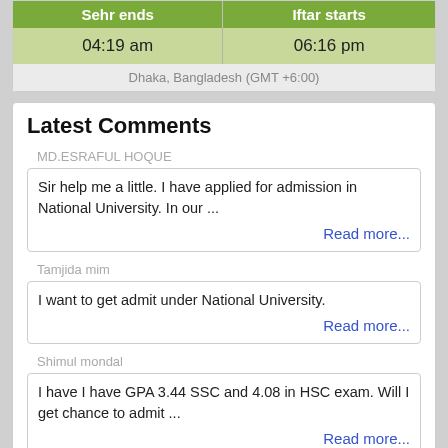| Sehr ends | Iftar starts |
| --- | --- |
| 04:19 am | 06:16 pm |
| Dhaka, Bangladesh (GMT +6:00) |  |
Latest Comments
MD.ESRAFUL HOQUE
Sir help me a little. I have applied for admission in National University. In our ...
Read more...
Tamjida mim
I want to get admit under National University.
Read more...
Shimul mondal
I have I have GPA 3.44 SSC and 4.08 in HSC exam. Will I get chance to admit ...
Read more...
Md azizul
My SSC GPA is 3.17 and my HSC GPA is 4.00 could I able to get admit honours in ...
Read more...